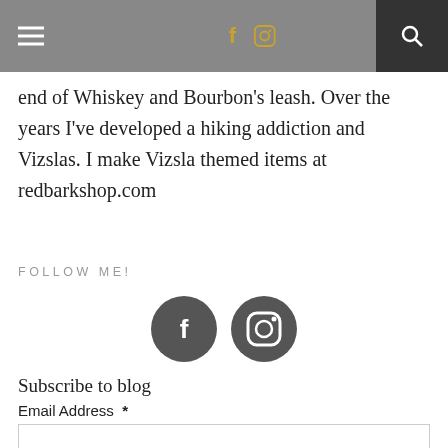Navigation bar with hamburger menu, Facebook icon, Instagram icon, and search button
end of Whiskey and Bourbon's leash. Over the years I've developed a hiking addiction and Vizslas. I make Vizsla themed items at redbarkshop.com
FOLLOW ME!
[Figure (other): Two circular dark gray social media icons: Facebook (f) and Instagram (camera) icons]
Subscribe to blog
Email Address *
First Name